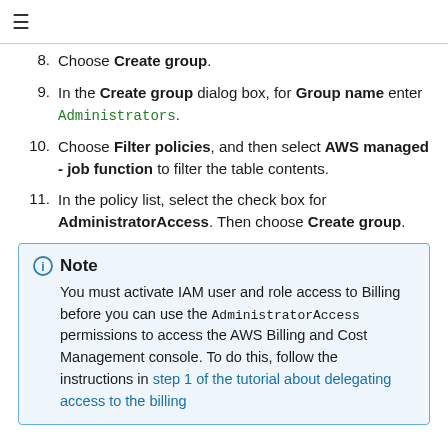≡
8. Choose Create group.
9. In the Create group dialog box, for Group name enter Administrators.
10. Choose Filter policies, and then select AWS managed - job function to filter the table contents.
11. In the policy list, select the check box for AdministratorAccess. Then choose Create group.
Note
You must activate IAM user and role access to Billing before you can use the AdministratorAccess permissions to access the AWS Billing and Cost Management console. To do this, follow the instructions in step 1 of the tutorial about delegating access to the billing